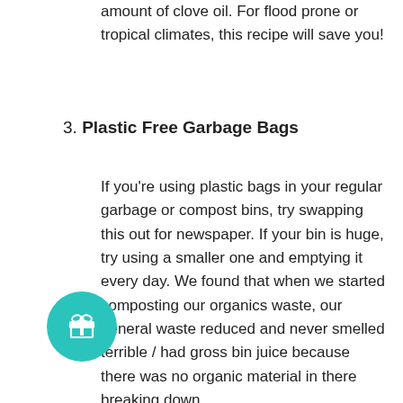amount of clove oil. For flood prone or tropical climates, this recipe will save you!
3. Plastic Free Garbage Bags
If you're using plastic bags in your regular garbage or compost bins, try swapping this out for newspaper. If your bin is huge, try using a smaller one and emptying it every day. We found that when we started composting our organics waste, our general waste reduced and never smelled terrible / had gross bin juice because there was no organic material in there breaking down.